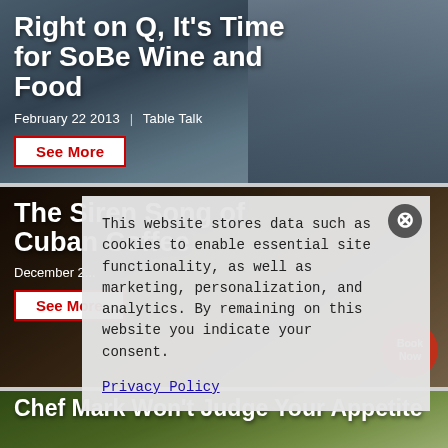[Figure (photo): Article card with photo background of two people, white bold title text overlay]
Right on Q, It's Time for SoBe Wine and Food
February 22 2013   Table Talk
See More
[Figure (photo): Article card with dark coffee-toned photo background, partially obscured by cookie popup]
The Siren Song of Cuban Coffee
December 2...
See More
This website stores data such as cookies to enable essential site functionality, as well as marketing, personalization, and analytics. By remaining on this website you indicate your consent.
Privacy Policy
[Figure (photo): Article card with green/food photo background, white bold title text overlay]
Chef Mark Won't Judge Your Appetite